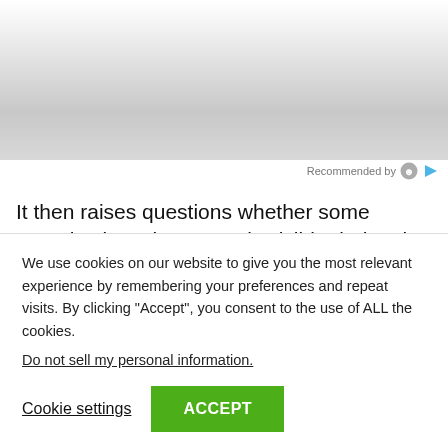[Figure (other): Advertisement image area with gradient gray background]
Recommended by
It then raises questions whether some organisations that are only visible during the 16 days are in it for the funding because GBV...
We use cookies on our website to give you the most relevant experience by remembering your preferences and repeat visits. By clicking “Accept”, you consent to the use of ALL the cookies.
Do not sell my personal information.
Cookie settings
ACCEPT